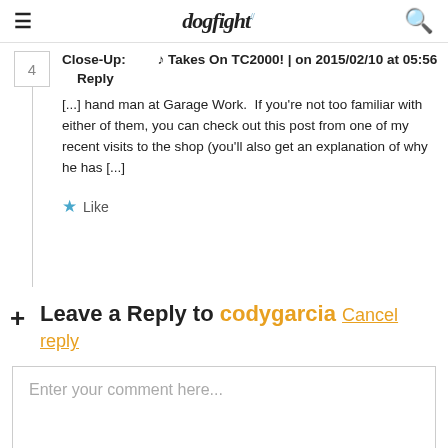dogfight [logo] [hamburger menu] [search icon]
Close-Up: 　　♪ Takes On TC2000! | on 2015/02/10 at 05:56   Reply
[...] hand man at Garage Work.  If you're not too familiar with either of them, you can check out this post from one of my recent visits to the shop (you'll also get an explanation of why he has [...]
★ Like
Leave a Reply to codygarcia Cancel reply
Enter your comment here...